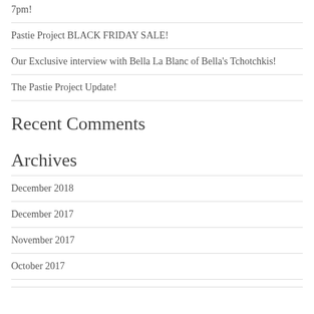7pm!
Pastie Project BLACK FRIDAY SALE!
Our Exclusive interview with Bella La Blanc of Bella's Tchotchkis!
The Pastie Project Update!
Recent Comments
Archives
December 2018
December 2017
November 2017
October 2017